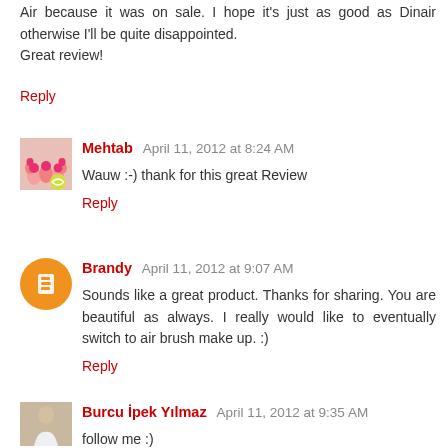Air because it was on sale. I hope it's just as good as Dinair otherwise I'll be quite disappointed.
Great review!
Reply
Mehtab  April 11, 2012 at 8:24 AM
Wauw :-) thank for this great Review
Reply
Brandy  April 11, 2012 at 9:07 AM
Sounds like a great product. Thanks for sharing. You are beautiful as always. I really would like to eventually switch to air brush make up. :)
Reply
Burcu İpek Yılmaz  April 11, 2012 at 9:35 AM
follow me :)